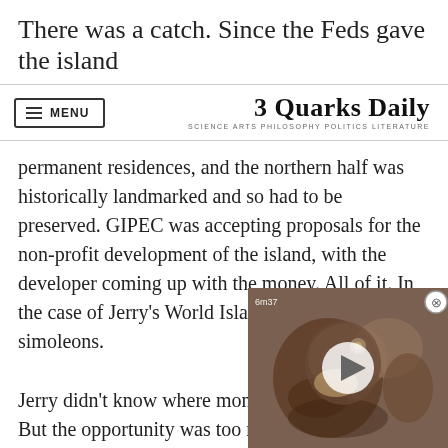There was a catch. Since the Feds gave the island
[Figure (logo): 3 Quarks Daily site logo with tagline: SCIENCE ARTS PHILOSOPHY POLITICS LITERATURE]
permanent residences, and the northern half was historically landmarked and so had to be preserved. GIPEC was accepting proposals for the non-profit development of the island, with the developer coming up with the money. All of it. In the case of Jerry’s World Island scheme, 25 billion simoleons.
Jerry didn’t know where money was coming from. But the opportunity was too rich. He had to go for it
Others believed in him. The me a handsome book describ thick. I judged it to be five-fi
[Figure (photo): Video overlay thumbnail showing what appears to be an animal (possibly an otter or similar creature) with a play button in the center and close button in the top right corner. Timestamp visible in top left.]